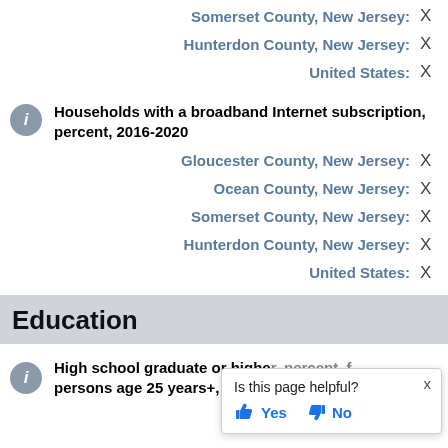Somerset County, New Jersey: X
Hunterdon County, New Jersey: X
United States: X
Households with a broadband Internet subscription, percent, 2016-2020
Gloucester County, New Jersey: X
Ocean County, New Jersey: X
Somerset County, New Jersey: X
Hunterdon County, New Jersey: X
United States: X
Education
High school graduate or higher, percent, persons age 25 years+, 2016-2020
Gloucester County, New Jersey: X